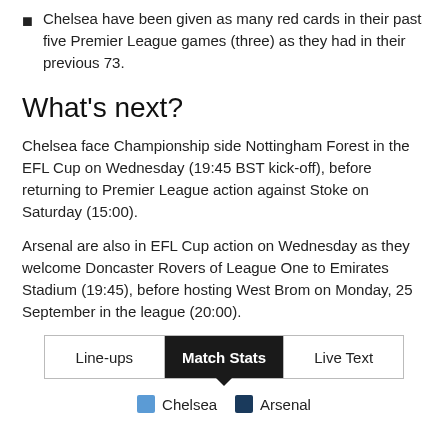Chelsea have been given as many red cards in their past five Premier League games (three) as they had in their previous 73.
What's next?
Chelsea face Championship side Nottingham Forest in the EFL Cup on Wednesday (19:45 BST kick-off), before returning to Premier League action against Stoke on Saturday (15:00).
Arsenal are also in EFL Cup action on Wednesday as they welcome Doncaster Rovers of League One to Emirates Stadium (19:45), before hosting West Brom on Monday, 25 September in the league (20:00).
| Line-ups | Match Stats | Live Text |
| --- | --- | --- |
Chelsea  Arsenal